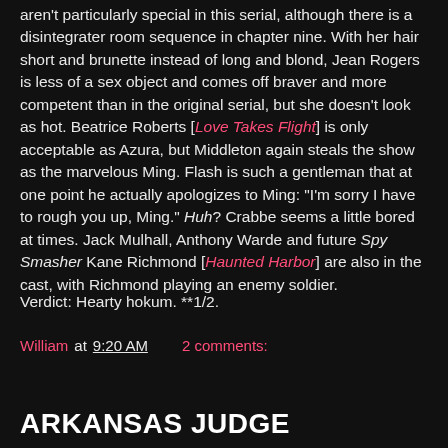aren't particularly special in this serial, although there is a disintegrater room sequence in chapter nine. With her hair short and brunette instead of long and blond, Jean Rogers is less of a sex object and comes off braver and more competent than in the original serial, but she doesn't look as hot. Beatrice Roberts [Love Takes Flight] is only acceptable as Azura, but Middleton again steals the show as the marvelous Ming. Flash is such a gentleman that at one point he actually apologizes to Ming: "I'm sorry I have to rough you up, Ming." Huh? Crabbe seems a little bored at times. Jack Mulhall, Anthony Warde and future Spy Smasher Kane Richmond [Haunted Harbor] are also in the cast, with Richmond playing an enemy soldier.
Verdict: Hearty hokum. **1/2.
William at 9:20 AM    2 comments:
Share
ARKANSAS JUDGE